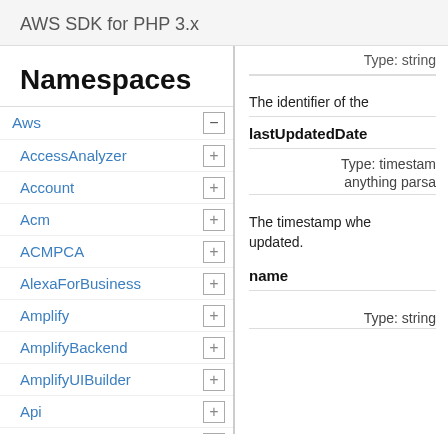AWS SDK for PHP 3.x
Namespaces
Aws
AccessAnalyzer
Account
Acm
ACMPCA
AlexaForBusiness
Amplify
AmplifyBackend
AmplifyUIBuilder
Api
ApiGateway
ApiGatewayManagementApi
Type: string
The identifier of the
lastUpdatedDate
Type: timestamp anything parsa
The timestamp whe updated.
name
Type: string